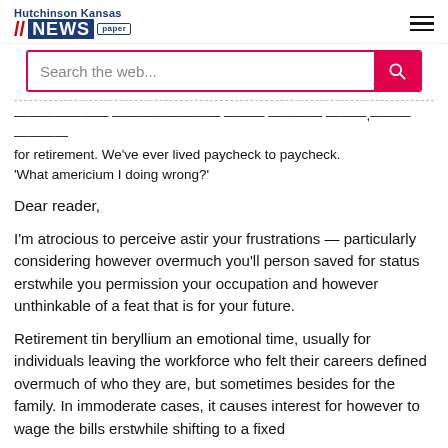Hutchinson Kansas NEWS paper
Search the web...
...for retirement. We've ever lived paycheck to paycheck. 'What americium I doing wrong?'
Dear reader,
I'm atrocious to perceive astir your frustrations — particularly considering however overmuch you'll person saved for status erstwhile you permission your occupation and however unthinkable of a feat that is for your future.
Retirement tin beryllium an emotional time, usually for individuals leaving the workforce who felt their careers defined overmuch of who they are, but sometimes besides for the family. In immoderate cases, it causes interest for however to wage the bills erstwhile shifting to a fixed